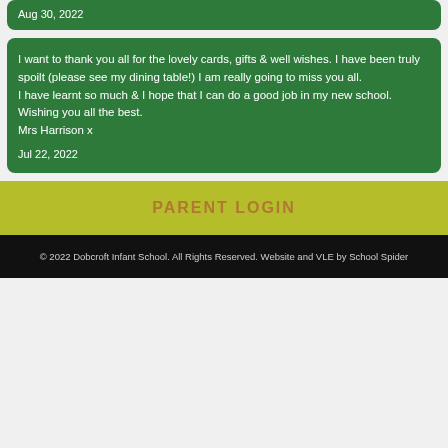Aug 30, 2022
I want to thank you all for the lovely cards, gifts & well wishes. I have been truly spoilt (please see my dining table!) I am really going to miss you all.
I have learnt so much & I hope that I can do a good job in my new school. Wishing you all the best.
Mrs Harrison x
Jul 22, 2022
PARENT LOGIN
© 2022 Dobcroft Infant School. All Rights Reserved. Website and VLE by School Spider